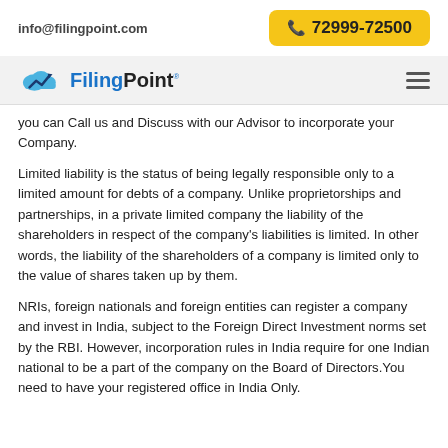info@filingpoint.com   📞 72999-72500
[Figure (logo): FilingPoint logo with cloud and arrow icon, and hamburger menu icon]
you can Call us and Discuss with our Advisor to incorporate your Company.
Limited liability is the status of being legally responsible only to a limited amount for debts of a company. Unlike proprietorships and partnerships, in a private limited company the liability of the shareholders in respect of the company's liabilities is limited. In other words, the liability of the shareholders of a company is limited only to the value of shares taken up by them.
NRIs, foreign nationals and foreign entities can register a company and invest in India, subject to the Foreign Direct Investment norms set by the RBI. However, incorporation rules in India require for one Indian national to be a part of the company on the Board of Directors. You need to have your registered office in India Only.